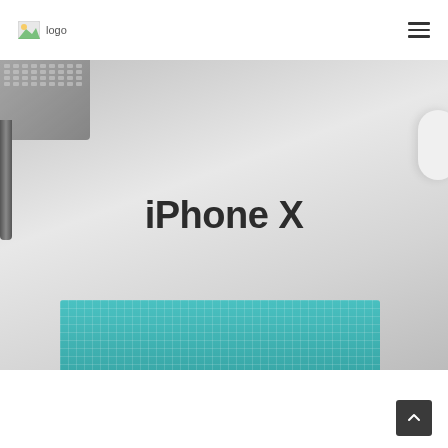logo
[Figure (photo): Hero image showing a desktop workspace from top-down view with a keyboard in the top-left corner, a cutting mat in teal/green at the bottom, a pen/stylus on the left, and a white rounded object on the right edge. The background is light gray/white.]
iPhone X
[Figure (other): Scroll-to-top button (dark square with upward chevron/arrow) in the bottom-right corner]